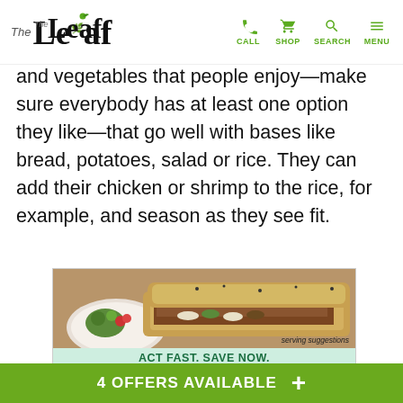The Leaf | CALL SHOP SEARCH MENU
and vegetables that people enjoy—make sure everybody has at least one option they like—that go well with bases like bread, potatoes, salad or rice. They can add their chicken or shrimp to the rice, for example, and season as they see fit.
[Figure (photo): Food photo showing a cheesesteak or meat sandwich with bread and vegetables, with 'serving suggestions' text overlay. Below the photo is an advertisement with mint green background reading ACT FAST. SAVE NOW. 30% OFF A La Carte Meals & Snacks]
4 OFFERS AVAILABLE +